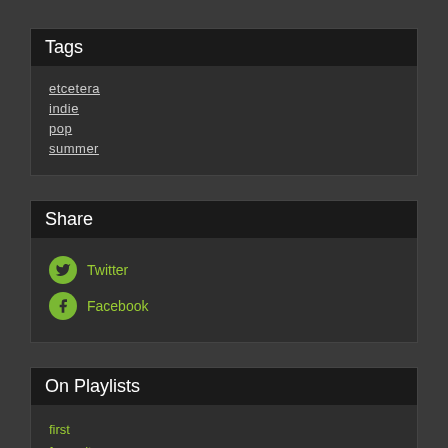Tags
etcetera
indie
pop
summer
Share
Twitter
Facebook
On Playlists
first
favourites